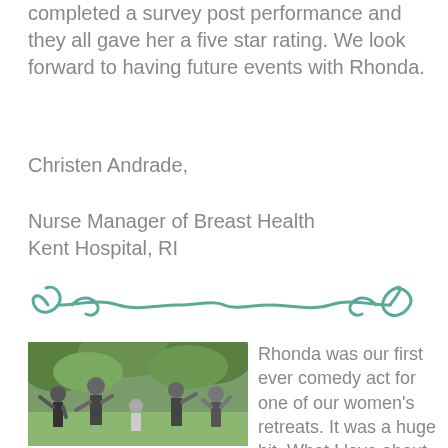completed a survey post performance and they all gave her a five star rating. We look forward to having future events with Rhonda.
Christen Andrade,
Nurse Manager of Breast Health
Kent Hospital, RI
[Figure (illustration): Decorative teal swirl/flourish divider]
[Figure (photo): Family photo of five people posing playfully outdoors with greenery in background]
Rhonda was our first ever comedy act for one of our women's retreats. It was a huge hit. What I love about Rhonda is not only was she funny, but she